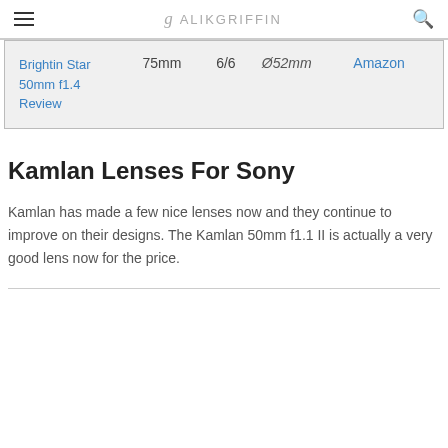ALIKGRIFFIN
| Brightin Star 50mm f1.4 Review | 75mm | 6/6 | Ø52mm | Amazon |
Kamlan Lenses For Sony
Kamlan has made a few nice lenses now and they continue to improve on their designs. The Kamlan 50mm f1.1 II is actually a very good lens now for the price.